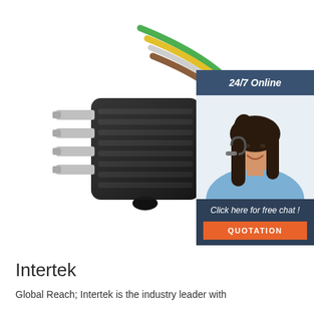[Figure (photo): Close-up photograph of a 4-pin flat electrical connector (trailer wiring harness plug) with colored wires (green, yellow, white, brown) extending from a black plastic housing with four metal pins]
[Figure (infographic): Customer service chat widget showing '24/7 Online' header, photo of smiling woman with headset, 'Click here for free chat!' text, and an orange QUOTATION button]
Intertek
Global Reach; Intertek is the industry leader with